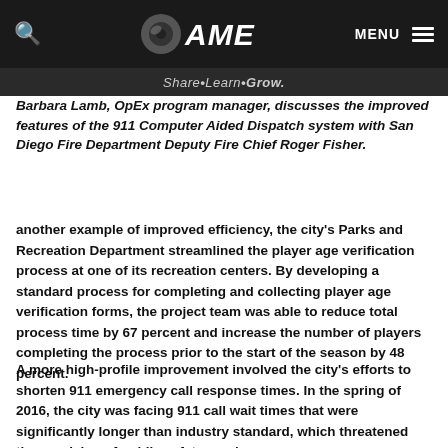AME — Share·Learn·Grow.
Barbara Lamb, OpEx program manager, discusses the improved features of the 911 Computer Aided Dispatch system with San Diego Fire Department Deputy Fire Chief Roger Fisher.
another example of improved efficiency, the city's Parks and Recreation Department streamlined the player age verification process at one of its recreation centers. By developing a standard process for completing and collecting player age verification forms, the project team was able to reduce total process time by 67 percent and increase the number of players completing the process prior to the start of the season by 48 percent.
A more high-profile improvement involved the city's efforts to shorten 911 emergency call response times. In the spring of 2016, the city was facing 911 call wait times that were significantly longer than industry standard, which threatened the provision of public safety services.